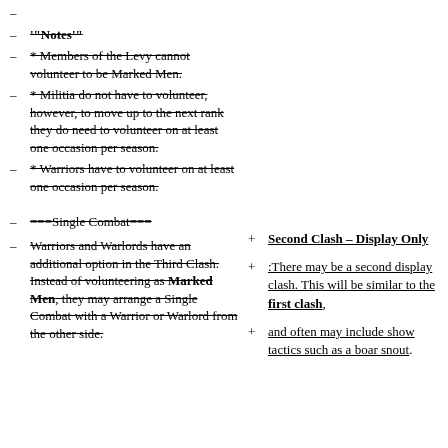–
– '"Notes'"
– * Members of the Levy cannot volunteer to be Marked Men. [strikethrough]
– * Militia do not have to volunteer, however, to move up to the next rank they do need to volunteer on at least one occasion per season. [strikethrough]
– * Warriors have to volunteer on at least one occasion per season. [strikethrough]
– ===Single Combat=== [strikethrough]
– Warriors and Warlords have an additional option in the Third Clash. Instead of volunteering as Marked Men, they may arrange a Single Combat with a Warrior or Warlord from the other side. [strikethrough]
+ Second Clash – Display Only [underline]
+ :There may be a second display clash. This will be similar to the first clash, [underline]
+ and often may include show tactics such as a boar snout. [underline]